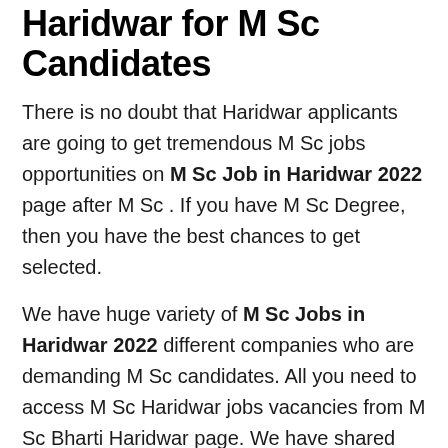Haridwar for M Sc Candidates
There is no doubt that Haridwar applicants are going to get tremendous M Sc jobs opportunities on M Sc Job in Haridwar 2022 page after M Sc . If you have M Sc Degree, then you have the best chances to get selected.
We have huge variety of M Sc Jobs in Haridwar 2022 different companies who are demanding M Sc candidates. All you need to access M Sc Haridwar jobs vacancies from M Sc Bharti Haridwar page. We have shared the link below which will give you details of companies which are hiring for M Sc Degree Candidates.
Just check out your Related M Sc Job in Haridwar 2022 and apply to the relevant jobs. Keep your